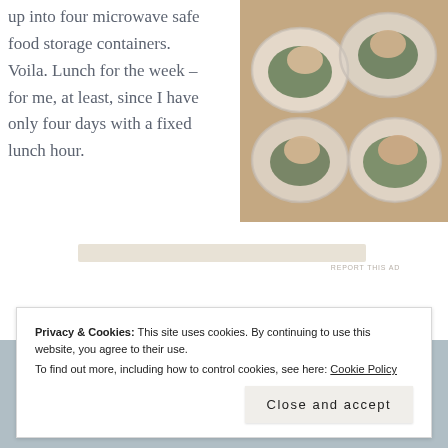up into four microwave safe food storage containers. Voila. Lunch for the week – for me, at least, since I have only four days with a fixed lunch hour.
[Figure (photo): Overhead photo of meal prep containers with chicken and greens arranged in clear round plastic containers]
Privacy & Cookies: This site uses cookies. By continuing to use this website, you agree to their use. To find out more, including how to control cookies, see here: Cookie Policy
Close and accept